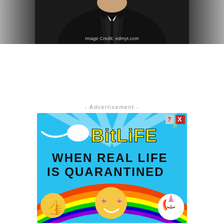[Figure (photo): Partial photo of a person in a dark suit with tie, cropped at chest/lower face. Gray gradient on sides. Image credit: edmyt.com shown at bottom of image.]
Image Credit: edmyt.com
- Advertisement -
[Figure (illustration): BitLife game advertisement. Bright blue background with rays. White sperm cell graphic with yellow 'BitLife' logo text with registered trademark symbol. Black bold text reading 'WHEN REAL LIFE IS QUARANTINED'. Bottom shows colorful emojis: thumbs up, star-eyes smiley face with purple star eyes, unicorn, all on rainbow arc. Close/question mark buttons in top right corner.]